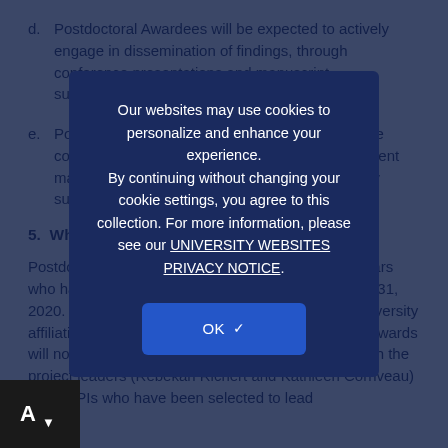d.    Postdoctoral Awardees will be expected to actively engage in dissemination of findings, through conference presentations and manuscript submissions.
e.    Postdoctoral Awardees will be asked to contribute content to a website devoted to this project. Content may include descriptions of their field site and lay summaries of key findings.
5.  Who Can Apply?
Postdoctoral award proposals are invited from scholars who have completed their dissertation by December 31, 2020. Scholars will need to have a mentor with a university affiliation who will support the postdoctoral scholar. Awards will not be given to postdoctoral scholars working with the project leaders (Rebekah Richert and Kathleen Corriveau) or with PIs who have been selected to lead
Our websites may use cookies to personalize and enhance your experience. By continuing without changing your cookie settings, you agree to this collection. For more information, please see our UNIVERSITY WEBSITES PRIVACY NOTICE.
OK ✓